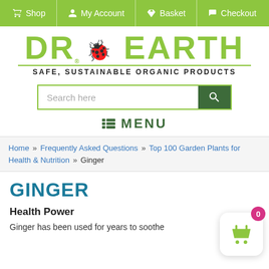Shop | My Account | Basket | Checkout
[Figure (logo): Dr. Earth logo with ladybug and tagline: SAFE, SUSTAINABLE ORGANIC PRODUCTS]
[Figure (screenshot): Search bar with placeholder 'Search here' and green search button]
MENU
Home » Frequently Asked Questions » Top 100 Garden Plants for Health & Nutrition » Ginger
GINGER
Health Power
Ginger has been used for years to soothe